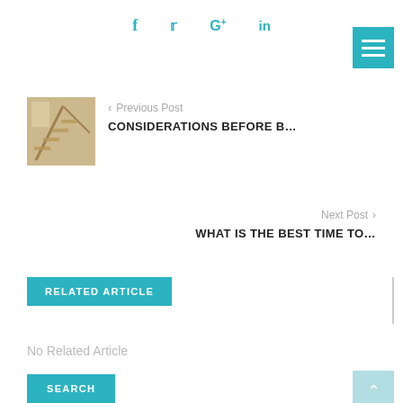f  Twitter  G+  in
[Figure (other): Hamburger menu icon button (teal background, three white horizontal lines)]
[Figure (photo): Thumbnail photo of an interior staircase with natural light]
< Previous Post
CONSIDERATIONS BEFORE B...
Next Post >
WHAT IS THE BEST TIME TO...
RELATED ARTICLE
No Related Article
SEARCH